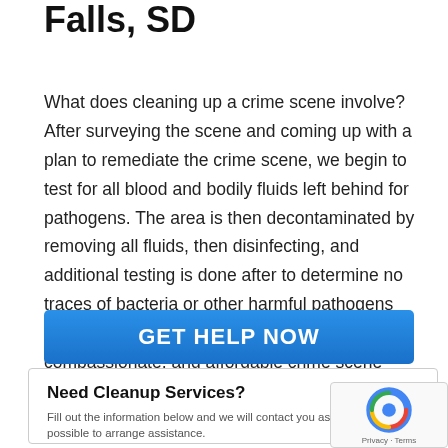Falls, SD
What does cleaning up a crime scene involve? After surveying the scene and coming up with a plan to remediate the crime scene, we begin to test for all blood and bodily fluids left behind for pathogens. The area is then decontaminated by removing all fluids, then disinfecting, and additional testing is done after to determine no traces of bacteria or other harmful pathogens are left behind. Contact us anytime for fast, compassionate, and affordable crime scene remediation in Sioux Falls, SD.
[Figure (other): Blue button with white text reading GET HELP NOW]
Need Cleanup Services?
Fill out the information below and we will contact you as soon as possible to arrange assistance.
FIRST NAME *